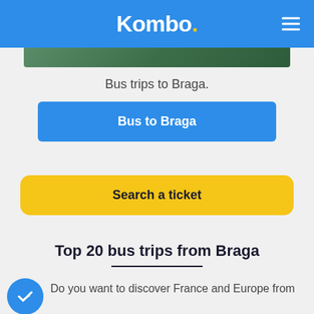Kombo.
[Figure (photo): Partial image of Braga landscape, green tones, cropped at top]
Bus trips to Braga.
Bus to Braga
Search a ticket
Top 20 bus trips from Braga
Do you want to discover France and Europe from